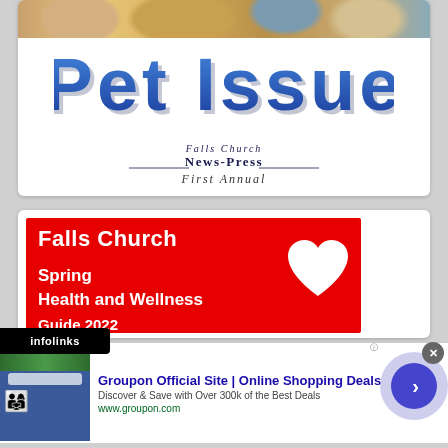[Figure (photo): Strip of pet photos at the top of the card showing cats and dogs]
Pet Issue
[Figure (logo): Falls Church News-Press newspaper logo in blackletter/gothic font]
First Annual
[Figure (infographic): Red banner advertisement for Falls Church Spring Health and Wellness with white heart shape]
Falls Church
Spring
Health and Wellness
[Figure (screenshot): Infolinks ad bar overlay at bottom]
Groupon Official Site | Online Shopping Deals
Discover & Save with Over 300k of the Best Deals
www.groupon.com